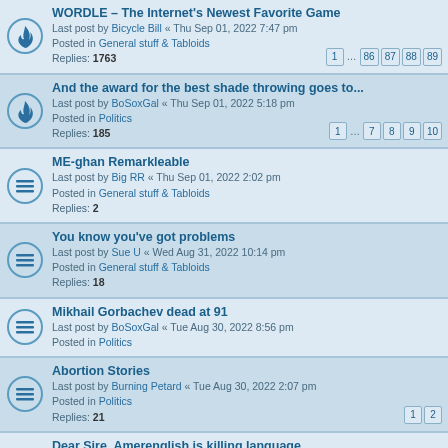WORDLE – The Internet's Newest Favorite Game
Last post by Bicycle Bill « Thu Sep 01, 2022 7:47 pm
Posted in General stuff & Tabloids
Replies: 1763
Pages: 1 ... 86 87 88 89
And the award for the best shade throwing goes to...
Last post by BoSoxGal « Thu Sep 01, 2022 5:18 pm
Posted in Politics
Replies: 185
Pages: 1 ... 7 8 9 10
ME-ghan Remarkleable
Last post by Big RR « Thu Sep 01, 2022 2:02 pm
Posted in General stuff & Tabloids
Replies: 2
You know you've got problems
Last post by Sue U « Wed Aug 31, 2022 10:14 pm
Posted in General stuff & Tabloids
Replies: 18
Mikhail Gorbachev dead at 91
Last post by BoSoxGal « Tue Aug 30, 2022 8:56 pm
Posted in Politics
Abortion Stories
Last post by Burning Petard « Tue Aug 30, 2022 2:07 pm
Posted in Politics
Replies: 21
Pages: 1 2
Dear Sire, Amerenglish is killing language
Last post by Big RR « Tue Aug 30, 2022 1:10 pm
Posted in Laffs!
Replies: 16
Gaia on Fire...